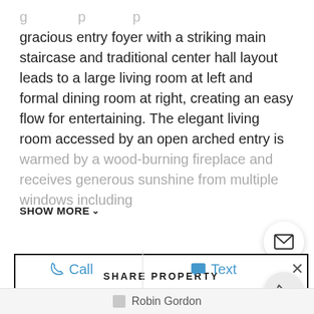gracious entry foyer with a striking main staircase and traditional center hall layout leads to a large living room at left and formal dining room at right, creating an easy flow for entertaining. The elegant living room accessed by an open arched entry is warmed by a wood-burning fireplace and receives generous sunshine from multiple windows including
SHOW MORE
SHARE PROPERTY
Call
Text
Robin Gordon